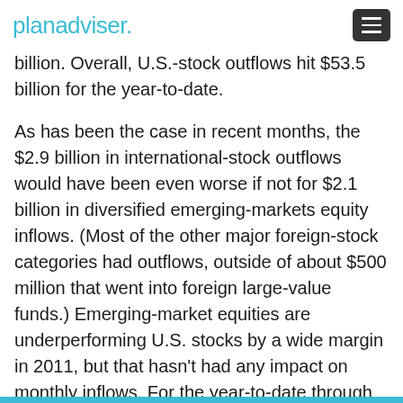planadviser.
billion. Overall, U.S.-stock outflows hit $53.5 billion for the year-to-date.
As has been the case in recent months, the $2.9 billion in international-stock outflows would have been even worse if not for $2.1 billion in diversified emerging-markets equity inflows. (Most of the other major foreign-stock categories had outflows, outside of about $500 million that went into foreign large-value funds.) Emerging-market equities are underperforming U.S. stocks by a wide margin in 2011, but that hasn't had any impact on monthly inflows. For the year-to-date through October, the diversified emerging-markets category has fallen 14.1%, while returns for the universally hated